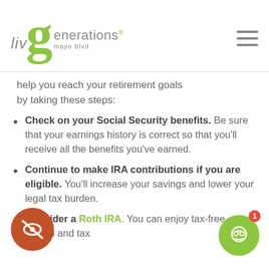[Figure (logo): livGenerations mayo blvd logo with large green G and hamburger menu icon]
help you reach your retirement goals by taking these steps:
Check on your Social Security benefits. Be sure that your earnings history is correct so that you'll receive all the benefits you've earned.
Continue to make IRA contributions if you are eligible. You'll increase your savings and lower your legal tax burden.
Consider a Roth IRA. You can enjoy tax-free growth and tax…